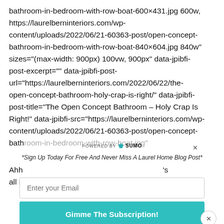bathroom-in-bedroom-with-row-boat-600×431.jpg 600w, https://laurelberninteriors.com/wp-content/uploads/2022/06/21-60363-post/open-concept-bathroom-in-bedroom-with-row-boat-840×604.jpg 840w" sizes="(max-width: 900px) 100vw, 900px" data-jpibfi-post-excerpt="" data-jpibfi-post-url="https://laurelberninteriors.com/2022/06/22/the-open-concept-bathroom-holy-crap-is-right/" data-jpibfi-post-title="The Open Concept Bathroom – Holy Crap Is Right!" data-jpibfi-src="https://laurelberninteriors.com/wp-content/uploads/2022/06/21-60363-post/open-concept-bathroom-in-bedroom-with-row-boat.jpg"
[Figure (screenshot): SUMO email subscription popup overlay with 'POWERED BY SUMO' branding, an email input field labeled 'Enter your Email', a teal 'Gimme The Subscription!' button, a close X button, and the text '*Sign Up Today For Free And Never Miss A Laurel Home Blog Post*']
Ahh 's all n A fe shar